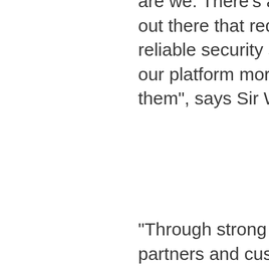are we. There's also smaller businesses out there that require a more robust and reliable security system; so we're making our platform more flexible and affordable to them", says Sir William Gallagher, CEO.
“Through strong relationships with valued partners and customers, we know we are releasing security technology that meets the needs of the industry.”
Further details about the latest products include:
Command Centre v7.30 introducing the mobile client that significantly extends visibility and